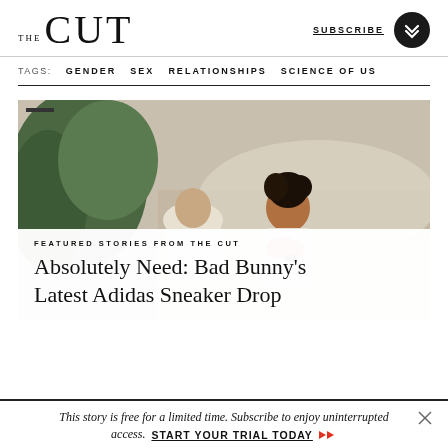THE CUT  SUBSCRIBE
TAGS:  GENDER  SEX  RELATIONSHIPS  SCIENCE OF US
[Figure (photo): Two people sitting outdoors near water and greenery, one with curly hair resting their arm on their knee]
FEATURED STORIES FROM THE CUT
Absolutely Need: Bad Bunny's Latest Adidas Sneaker Drop
This story is free for a limited time. Subscribe to enjoy uninterrupted access. START YOUR TRIAL TODAY »